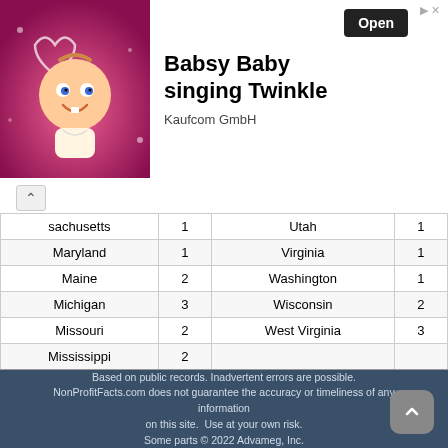[Figure (illustration): Advertisement banner: cartoon baby character on pink background with heart, text 'Babsy Baby singing Twinkle', company 'Kaufcom GmbH', Open button]
| State | Count | State | Count |
| --- | --- | --- | --- |
| sachusetts | 1 | Utah | 1 |
| Maryland | 1 | Virginia | 1 |
| Maine | 2 | Washington | 1 |
| Michigan | 3 | Wisconsin | 2 |
| Missouri | 2 | West Virginia | 3 |
| Mississippi | 2 |  |  |
| Total |  |  | 367 |
NonProfitFacts.com is not associated with, endorsed by, or sponsored by Phi Mu Fraternity, Beta Eta Chapter and has no official or unofficial affiliation with Phi Mu Fraternity, Beta Eta Chapter
Based on public records. Inadvertent errors are possible. NonProfitFacts.com does not guarantee the accuracy or timeliness of any information on this site. Use at your own risk. Some parts © 2022 Advameg, Inc.